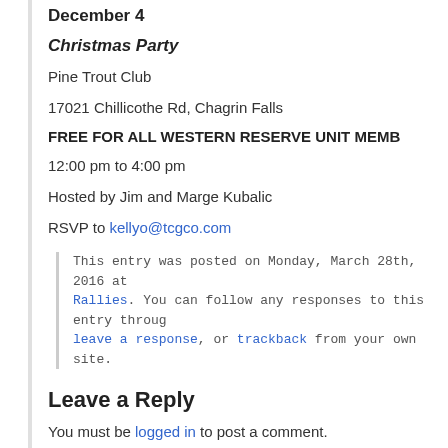December 4
Christmas Party
Pine Trout Club
17021 Chillicothe Rd, Chagrin Falls
FREE FOR ALL WESTERN RESERVE UNIT MEMBERS
12:00 pm to 4:00 pm
Hosted by Jim and Marge Kubalic
RSVP to kellyo@tcgco.com
This entry was posted on Monday, March 28th, 2016 at Rallies. You can follow any responses to this entry through leave a response, or trackback from your own site.
Leave a Reply
You must be logged in to post a comment.